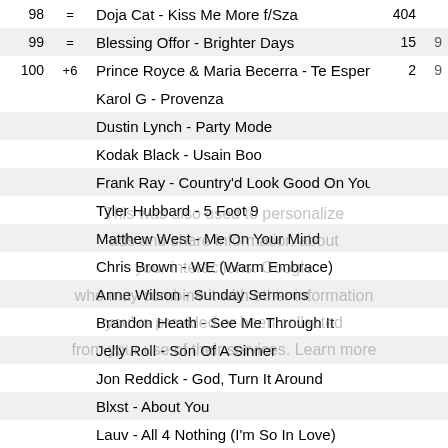| Rank | Change | Title | Num1 | Num2 |
| --- | --- | --- | --- | --- |
| 98 | = | Doja Cat - Kiss Me More f/Sza | 404 |  |
| 99 | = | Blessing Offor - Brighter Days | 15 | 9 |
| 100 | +6 | Prince Royce & Maria Becerra - Te Espero | 2 | 9 |
|  |  | Karol G - Provenza |  |  |
|  |  | Dustin Lynch - Party Mode |  |  |
|  |  | Kodak Black - Usain Boo |  |  |
|  |  | Frank Ray - Country'd Look Good On You |  |  |
|  |  | Tyler Hubbard - 5 Foot 9 |  |  |
|  |  | Matthew West - Me On Your Mind |  |  |
|  |  | Chris Brown - WE (Warm Embrace) |  |  |
|  |  | Anne Wilson - Sunday Sermons |  |  |
|  |  | Brandon Heath - See Me Through It |  |  |
|  |  | Jelly Roll - Son Of A Sinner |  |  |
|  |  | Jon Reddick - God, Turn It Around |  |  |
|  |  | Blxst - About You |  |  |
|  |  | Lauv - All 4 Nothing (I'm So In Love) |  |  |
|  |  | Ava Max - Maybe You're The Problem |  |  |
|  |  | Shakira & Rauw Alejandro - Te Felicito |  |  |
|  |  | Vince Staples - MAGIC f/Mustard |  |  |
|  |  | Lil Tjay - In My Head |  |  |
|  |  | Bad Bunny - Moscow Mule |  |  |
|  |  | Lil Baby - In A Minute |  |  |
This was also used to personalize ads and share information about your interactions. Google who may combine it with other information you've provided or been collected from your use of their services. Learn more